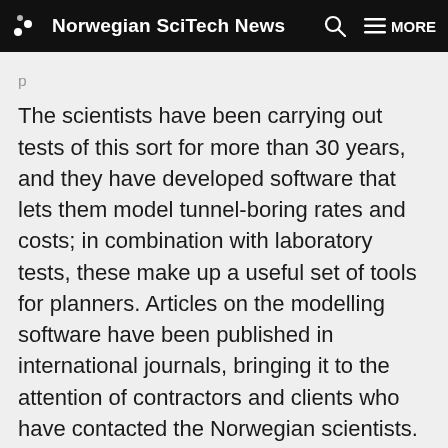Norwegian SciTech News
The scientists have been carrying out tests of this sort for more than 30 years, and they have developed software that lets them model tunnel-boring rates and costs; in combination with laboratory tests, these make up a useful set of tools for planners. Articles on the modelling software have been published in international journals, bringing it to the attention of contractors and clients who have contacted the Norwegian scientists. During the past three or four years quite a few contracts have come from New York, and the feedback from the other side of the Atlantic has been very positive: the laboratory is doing a god job.
“Drillability testing often means taking out sample of large blocks of stone which may weigh several tonnes.